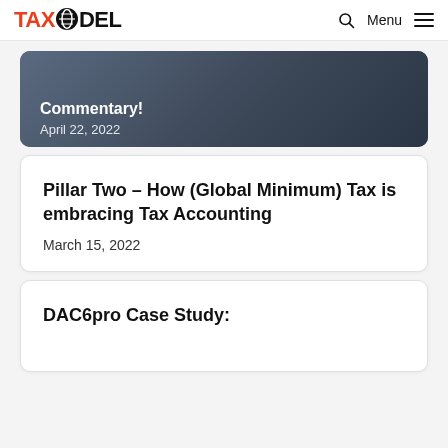TAXMODEL | Menu
[Figure (photo): Dark background image showing a person with text overlay 'Commentary!' and date 'April 22, 2022']
Pillar Two – How (Global Minimum) Tax is embracing Tax Accounting
March 15, 2022
DAC6pro Case Study: